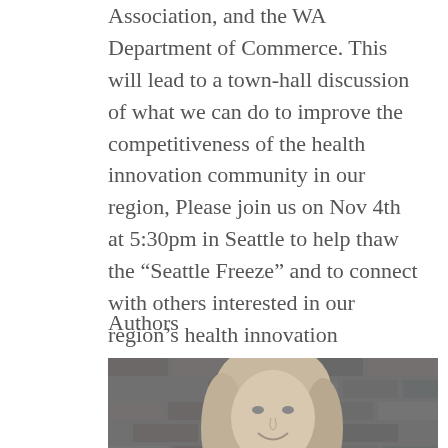Association, and the WA Department of Commerce. This will lead to a town-hall discussion of what we can do to improve the competitiveness of the health innovation community in our region, Please join us on Nov 4th at 5:30pm in Seattle to help thaw the “Seattle Freeze” and to connect with others interested in our region’s health innovation community.
Authors
[Figure (photo): Black and white portrait photo of a woman with long light-colored hair, smiling, against a brick wall background.]